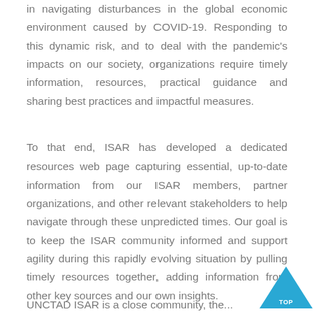in navigating disturbances in the global economic environment caused by COVID-19. Responding to this dynamic risk, and to deal with the pandemic's impacts on our society, organizations require timely information, resources, practical guidance and sharing best practices and impactful measures.
To that end, ISAR has developed a dedicated resources web page capturing essential, up-to-date information from our ISAR members, partner organizations, and other relevant stakeholders to help navigate through these unpredicted times. Our goal is to keep the ISAR community informed and support agility during this rapidly evolving situation by pulling timely resources together, adding information from other key sources and our own insights.
UNCTAD ISAR is a close community, the...